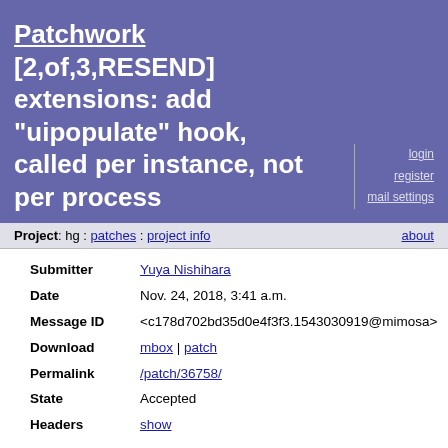Patchwork [2,of,3,RESEND] extensions: add "uipopulate" hook, called per instance, not per process
login
register
mail settings
Project: hg : patches : project info    about
Submitter	Yuya Nishihara
Date	Nov. 24, 2018, 3:41 a.m.
Message ID	<c178d702bd35d0e4f3f3.1543030919@mimosa>
Download	mbox | patch
Permalink	/patch/36758/
State	Accepted
Headers	show
Comments
Yuya Nishihara - Nov. 24, 2018, 3:41 a.m.
# HG changeset patch
# User Yuya Nishihara <yuya@tcha.org>